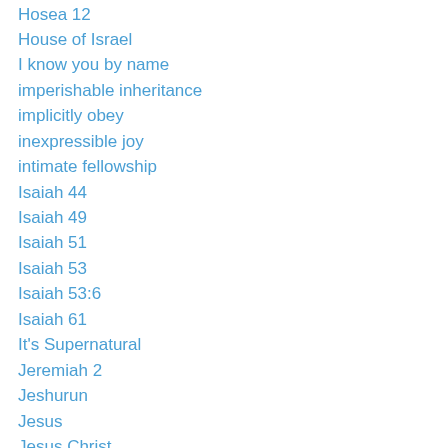Hosea 12
House of Israel
I know you by name
imperishable inheritance
implicitly obey
inexpressible joy
intimate fellowship
Isaiah 44
Isaiah 49
Isaiah 51
Isaiah 53
Isaiah 53:6
Isaiah 61
It's Supernatural
Jeremiah 2
Jeshurun
Jesus
Jesus Christ
Jesus glorified
Jewish Voice Ministries